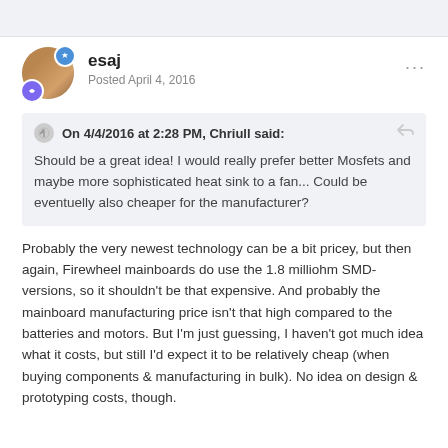esaj
Posted April 4, 2016
On 4/4/2016 at 2:28 PM, Chriull said:
Should be a great idea! I would really prefer better Mosfets and maybe more sophisticated heat sink to a fan... Could be eventuelly also cheaper for the manufacturer?
Probably the very newest technology can be a bit pricey, but then again, Firewheel mainboards do use the 1.8 milliohm SMD-versions, so it shouldn't be that expensive. And probably the mainboard manufacturing price isn't that high compared to the batteries and motors. But I'm just guessing, I haven't got much idea what it costs, but still I'd expect it to be relatively cheap (when buying components & manufacturing in bulk). No idea on design & prototyping costs, though.